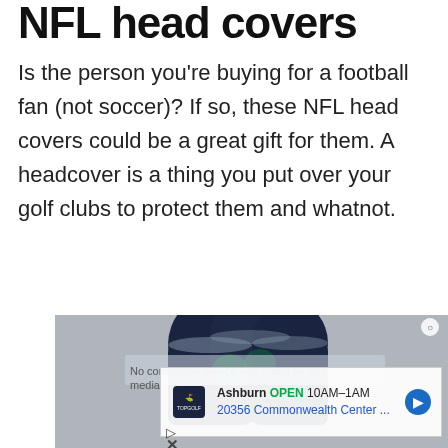NFL head covers
Is the person you’re buying for a football fan (not soccer)? If so, these NFL head covers could be a great gift for them. A headcover is a thing you put over your golf clubs to protect them and whatnot.
[Figure (photo): NFL Seahawks golf club head covers, dark navy blue leather-style covers with team logo, shown overlapping each other. An advertisement overlay from Topgolf shows: Ashburn OPEN 10AM–1AM, 20356 Commonwealth Center...]
No compatible source was found for this media.